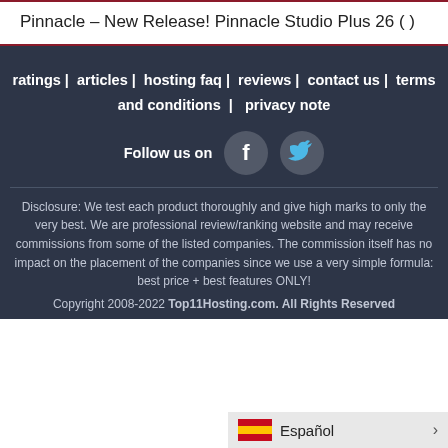Pinnacle – New Release! Pinnacle Studio Plus 26 ( )
ratings   articles   hosting faq   reviews   contact us   terms and conditions   privacy note
Follow us on
Disclosure: We test each product thoroughly and give high marks to only the very best. We are professional review/ranking website and may receive commissions from some of the listed companies. The commission itself has no impact on the placement of the companies since we use a very simple formula: best price + best features ONLY!
Copyright 2008-2022 Top11Hosting.com. All Rights Reserved
Español